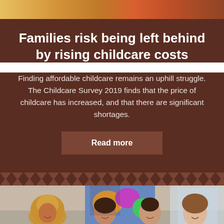[Figure (photo): Colorful photo strip at the top of the page showing bright colors]
Families risk being left behind by rising childcare costs
Finding affordable childcare remains an uphill struggle. The Childcare Survey 2019 finds that the price of childcare has increased, and that there are significant shortages.
Read more
[Figure (photo): Four women standing together and smiling in an office setting]